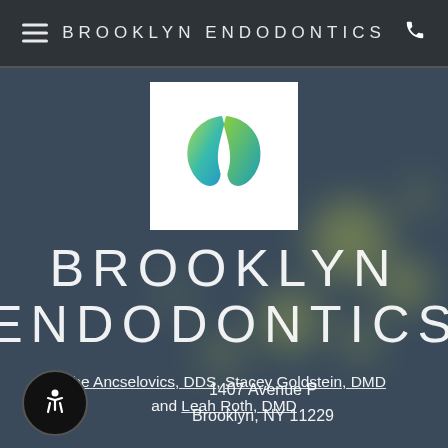BROOKLYN ENDODONTICS
[Figure (logo): Brooklyn Endodontics tooth logo — a stylized tooth shape with green, teal, and blue gradient colors on a white background]
BROOKLYN ENDODONTICS
Abe Ancselovics, DDS, Stacey Goldstein, DMD and Leah Roth, DMD
1407 Avenue P
Brooklyn, NY 11229